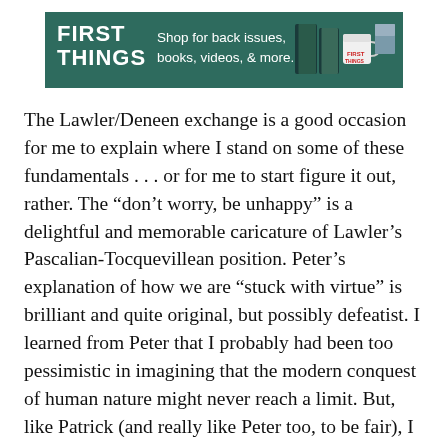[Figure (infographic): First Things advertisement banner with green background, showing 'FIRST THINGS' logo on left, tagline 'Shop for back issues, books, videos, & more.' in center, and product images (books, mug) on right.]
The Lawler/Deneen exchange is a good occasion for me to explain where I stand on some of these fundamentals . . . or for me to start figure it out, rather. The “don’t worry, be unhappy” is a delightful and memorable caricature of Lawler’s Pascalian-Tocquevillean position. Peter’s explanation of how we are “stuck with virtue” is brilliant and quite original, but possibly defeatist. I learned from Peter that I probably had been too pessimistic in imagining that the modern conquest of human nature might never reach a limit. But, like Patrick (and really like Peter too, to be fair), I don’t want to wait and see what that limit might look like. In part the FP/Pomocon “dispute” looks to me like an argument about what